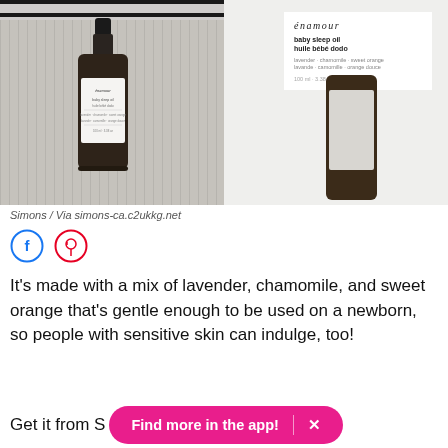[Figure (photo): Two-panel product photo. Left: dark amber bottle of énamour baby sleep oil lying on a black-and-white striped textile/blanket. Right: close-up of the same dark amber bottle upright on a white surface, label clearly showing 'énamour', 'baby sleep oil / huile bébé dodo', ingredients: lavender, chamomile, sweet orange, 100ml/3.38 oz.]
Simons / Via simons-ca.c2ukkg.net
[Figure (other): Facebook and Pinterest share icon buttons (circular outline icons)]
It's made with a mix of lavender, chamomile, and sweet orange that's gentle enough to be used on a newborn, so people with sensitive skin can indulge, too!
Get it from S
Find more in the app!   ×